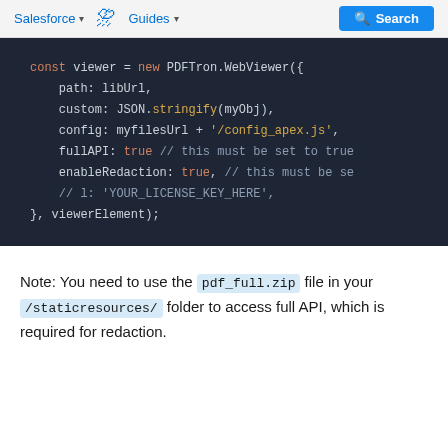Salesforce v  Guides v  Search
[Figure (screenshot): Dark-themed code block showing JavaScript code: const viewer = new PDFTron.WebViewer({ path: libUrl, custom: JSON.stringify(myObj), config: myfilesUrl + '/config_apex.js', fullAPI: true // this must be set to true, enableRedaction: true, // this must be se, // l: 'YOUR_LICENSE_KEY_HERE', }, viewerElement);]
Note: You need to use the pdf_full.zip file in your /staticresources/ folder to access full API, which is required for redaction.